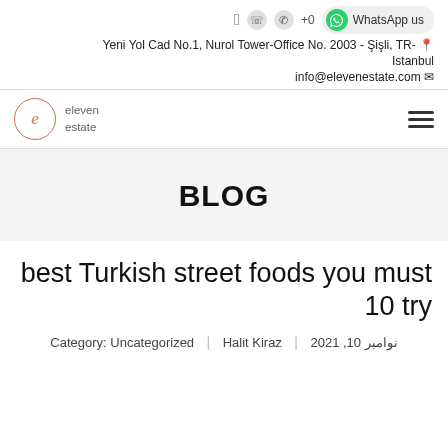Yeni Yol Cad No.1, Nurol Tower-Office No. 2003 - Şişli, TR- Istanbul
info@elevenestate.com
[Figure (logo): Eleven Estate logo with circle 'e' icon and hamburger menu]
BLOG
best Turkish street foods you must 10 try
Category: Uncategorized | Halit Kiraz | نوامبر 10, 2021